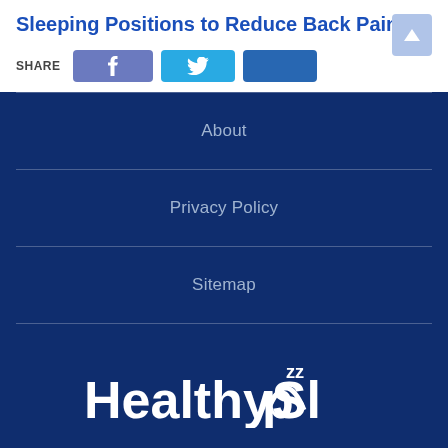Sleeping Positions to Reduce Back Pain
SHARE [Facebook] [Twitter] [LinkedIn]
About
Privacy Policy
Sitemap
[Figure (logo): HealthySleep logo with stylized 'zz' superscript over the 'ee' in Sleep]
© 2022 Healthy Sleep.